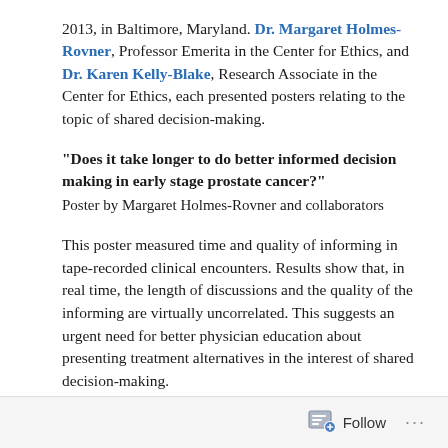2013, in Baltimore, Maryland. Dr. Margaret Holmes-Rovner, Professor Emerita in the Center for Ethics, and Dr. Karen Kelly-Blake, Research Associate in the Center for Ethics, each presented posters relating to the topic of shared decision-making.
“Does it take longer to do better informed decision making in early stage prostate cancer?”
Poster by Margaret Holmes-Rovner and collaborators
This poster measured time and quality of informing in tape-recorded clinical encounters. Results show that, in real time, the length of discussions and the quality of the informing are virtually uncorrelated. This suggests an urgent need for better physician education about presenting treatment alternatives in the interest of shared decision-making.
Follow